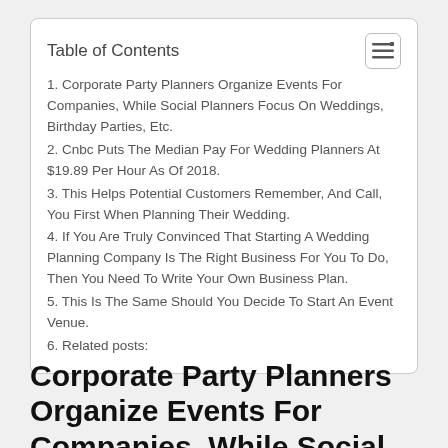Table of Contents
1. Corporate Party Planners Organize Events For Companies, While Social Planners Focus On Weddings, Birthday Parties, Etc.
2. Cnbc Puts The Median Pay For Wedding Planners At $19.89 Per Hour As Of 2018.
3. This Helps Potential Customers Remember, And Call, You First When Planning Their Wedding.
4. If You Are Truly Convinced That Starting A Wedding Planning Company Is The Right Business For You To Do, Then You Need To Write Your Own Business Plan.
5. This Is The Same Should You Decide To Start An Event Venue.
6. Related posts:
Corporate Party Planners Organize Events For Companies, While Social Planners Focus On Weddings, Birth...